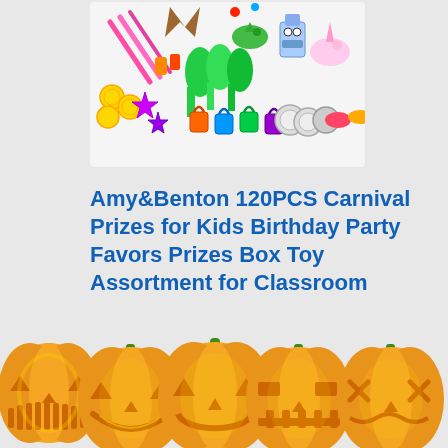[Figure (photo): Colorful assortment of 120 carnival prize toys including sticky hands, dinosaurs, robots, unicorns, gold coins, wands, padlocks, and other small toys displayed against a white background]
Amy&Benton 120PCS Carnival Prizes for Kids Birthday Party Favors Prizes Box Toy Assortment for Classroom
VARIOUS APPLICATION: prize your...
[Figure (illustration): Row of five orange Halloween jack-o-lantern pumpkins with glowing faces, green stems, along the bottom of the page]